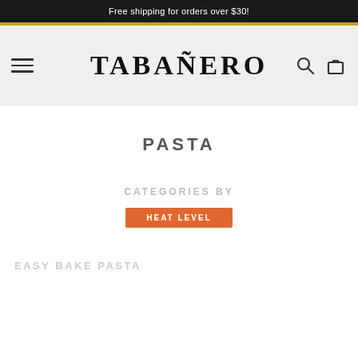Free shipping for orders over $30!
[Figure (logo): TABANERO brand logo in bold serif uppercase letters with navigation elements: hamburger menu on left, search and bag icons on right]
PASTA
CATEGORIES BY
HEAT LEVEL
EASY BAKE PASTA